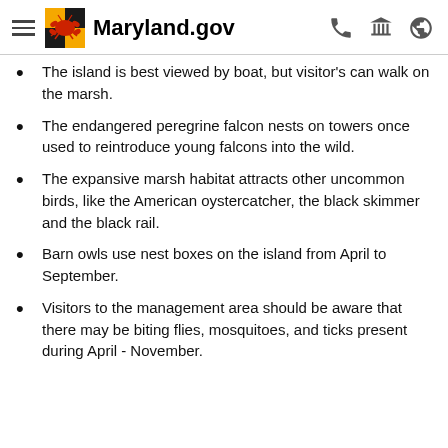Maryland.gov
The island is best viewed by boat, but visitor's can walk on the marsh.
The endangered peregrine falcon nests on towers once used to reintroduce young falcons into the wild.
The expansive marsh habitat attracts other uncommon birds, like the American oystercatcher, the black skimmer and the black rail.
Barn owls use nest boxes on the island from April to September.
Visitors to the management area should be aware that there may be biting flies, mosquitoes, and ticks present during April - November.